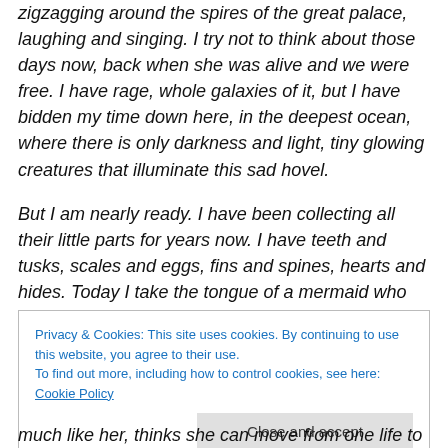zigzagging around the spires of the great palace, laughing and singing. I try not to think about those days now, back when she was alive and we were free. I have rage, whole galaxies of it, but I have bidden my time down here, in the deepest ocean, where there is only darkness and light, tiny glowing creatures that illuminate this sad hovel.
But I am nearly ready. I have been collecting all their little parts for years now. I have teeth and tusks, scales and eggs, fins and spines, hearts and hides. Today I take the tongue of a mermaid who believes a prince will love her,
Privacy & Cookies: This site uses cookies. By continuing to use this website, you agree to their use.
To find out more, including how to control cookies, see here: Cookie Policy
much like her, thinks she can move from one life to